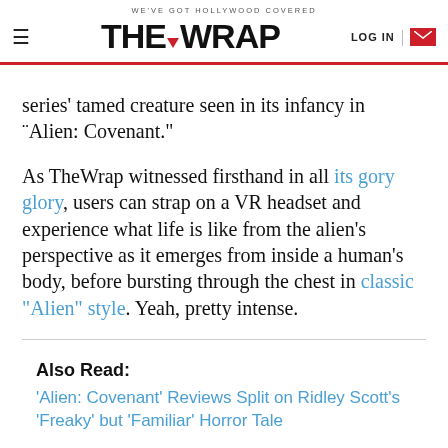WE'VE GOT HOLLYWOOD COVERED — THE WRAP — LOG IN
series' tamed creature seen in its infancy in "Alien: Covenant."
As TheWrap witnessed firsthand in all its gory glory, users can strap on a VR headset and experience what life is like from the alien's perspective as it emerges from inside a human's body, before bursting through the chest in classic "Alien" style. Yeah, pretty intense.
Also Read: 'Alien: Covenant' Reviews Split on Ridley Scott's 'Freaky' but 'Familiar' Horror Tale
The FoxNext VR Studio vehicle was directed by David